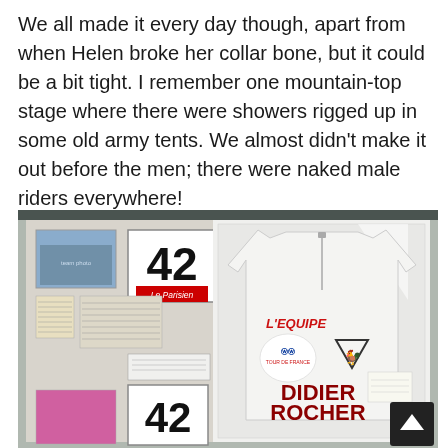We all made it every day though, apart from when Helen broke her collar bone, but it could be a bit tight. I remember one mountain-top stage where there were showers rigged up in some old army tents. We almost didn't make it out before the men; there were naked male riders everywhere!
[Figure (photo): A framed display on a wall containing a white cycling jersey with 'L'EQUIPE' and 'TOUR DE FRANCE' logos and a Coq Sportif logo, race numbers '42' with 'Le Parisien' branding, a team photograph, newspaper clippings, and the name 'DIDIER ROCHER' in large red letters at the bottom.]